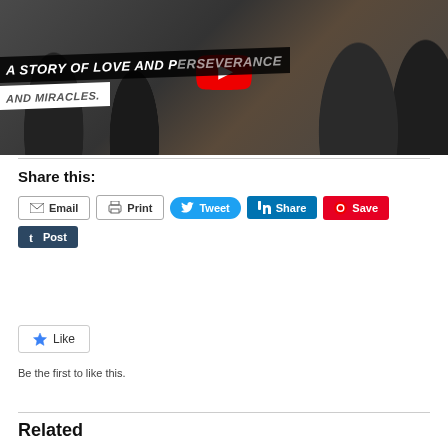[Figure (screenshot): YouTube video thumbnail showing people on a subway/train, with text overlays reading 'A STORY OF LOVE AND PERSEVERANCE' and 'AND MIRACLES.' and a YouTube play button in the center.]
Share this:
Email
Print
Tweet
Share
Save
Post
Like
Be the first to like this.
Related